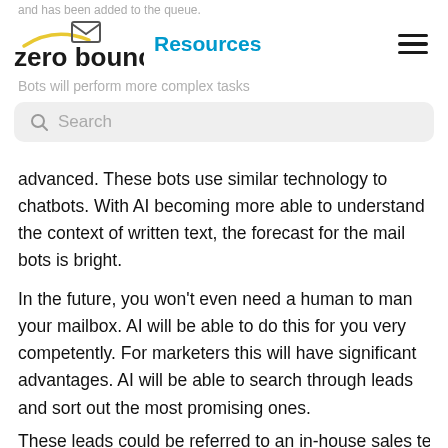and has been added to the queue.
[Figure (logo): ZeroBounce logo with envelope icon and yellow swoosh, followed by 'Resources' label in blue]
Bots will perform more complex tasks
Search
advanced. These bots use similar technology to chatbots. With AI becoming more able to understand the context of written text, the forecast for the mail bots is bright.
In the future, you won't even need a human to man your mailbox. AI will be able to do this for you very competently. For marketers this will have significant advantages. AI will be able to search through leads and sort out the most promising ones.
These leads could be referred to an in-house sales team for